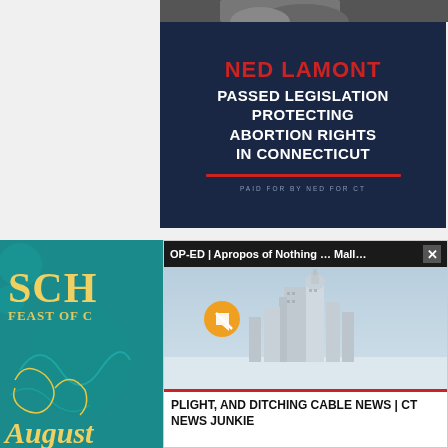[Figure (photo): Top strip showing partial photo of a person, cropped at top edge]
[Figure (infographic): Dark navy blue political ad for Ned Lamont reading: NED LAMONT PASSED LEGISLATION PROTECTING ABORTION RIGHTS IN CONNECTICUT with red underline and paid for by NED FOR CT disclaimer]
[Figure (photo): Teal graphic for Sch Feast of C event showing August date, golden swirling decorative elements]
[Figure (screenshot): Video overlay banner with header OP-ED | Apropos of Nothing ... Mall... with X close button, video thumbnail of Connecticut state capitol building in winter/snowy scene with mute button, and caption PLIGHT, AND DITCHING CABLE NEWS | CT NEWS JUNKIE]